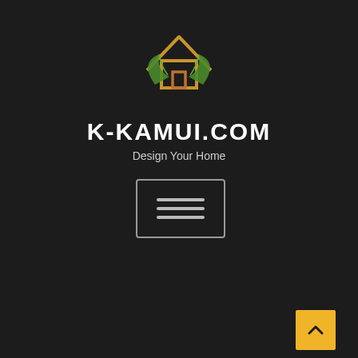[Figure (logo): K-Kamui.com logo: a house outline in gold/orange with green leaves at the base]
K-KAMUI.COM
Design Your Home
[Figure (other): Hamburger menu button - three horizontal lines in a rounded rectangle border]
Contact Us
Advertise Here
Disclosure Policy
Sitemap